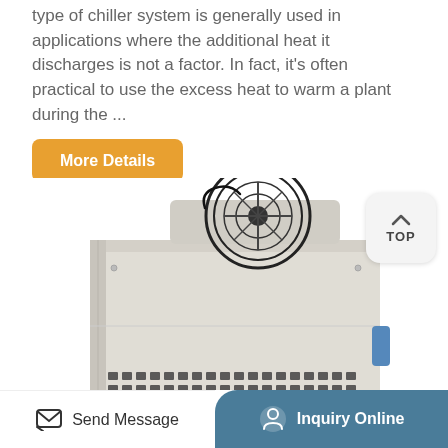type of chiller system is generally used in applications where the additional heat it discharges is not a factor. In fact, it's often practical to use the excess heat to warm a plant during the ...
More Details
[Figure (photo): Air-cooled chiller unit, boxy beige/grey cabinet with a large black fan on top and ventilation grilles at bottom]
TOP
Send Message
Inquiry Online